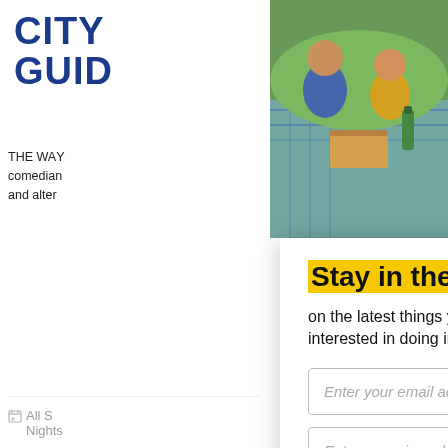[Figure (logo): City Guide logo in bold blue text, two lines: CITY GUID]
[Figure (photo): Photo of two people having a picnic on a blanket outdoors, eating pizza and drinking beverages]
THE WA... comedian... and alte...
All S... Nights...
PAST
Broadw... 318 Wes...
Broadw... our Top... comedia...
Stay in the loop
on the latest things you're interested in doing in NYC!
Enter your email address
Enter your zip code
SUBSCRIBE
I agree to receive news and promotional material from this website and understand I can cancel at any time.